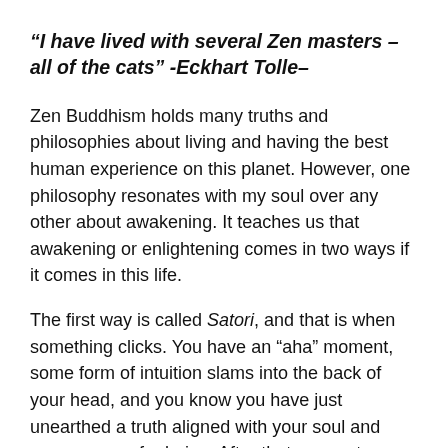“I have lived with several Zen masters – all of the cats” -Eckhart Tolle–
Zen Buddhism holds many truths and philosophies about living and having the best human experience on this planet. However, one philosophy resonates with my soul over any other about awakening. It teaches us that awakening or enlightening comes in two ways if it comes in this life.
The first way is called Satori, and that is when something clicks. You have an “aha” moment, some form of intuition slams into the back of your head, and you know you have just unearthed a truth aligned with your soul and your reasons for being. After that moment, things can never be the same because what you have just learned or